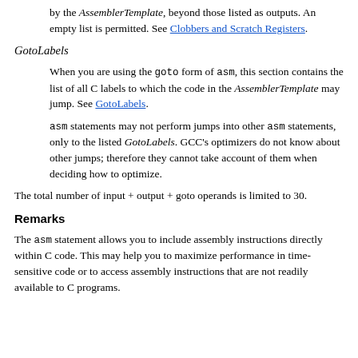by the AssemblerTemplate, beyond those listed as outputs. An empty list is permitted. See Clobbers and Scratch Registers.
GotoLabels
When you are using the goto form of asm, this section contains the list of all C labels to which the code in the AssemblerTemplate may jump. See GotoLabels.
asm statements may not perform jumps into other asm statements, only to the listed GotoLabels. GCC's optimizers do not know about other jumps; therefore they cannot take account of them when deciding how to optimize.
The total number of input + output + goto operands is limited to 30.
Remarks
The asm statement allows you to include assembly instructions directly within C code. This may help you to maximize performance in time-sensitive code or to access assembly instructions that are not readily available to C programs.